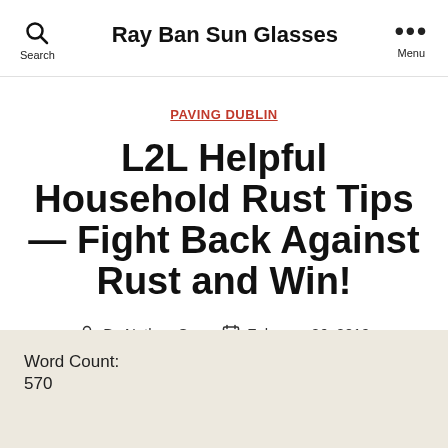Ray Ban Sun Glasses
PAVING DUBLIN
L2L Helpful Household Rust Tips — Fight Back Against Rust and Win!
By Nathan Cox  February 26, 2019
Word Count:
570